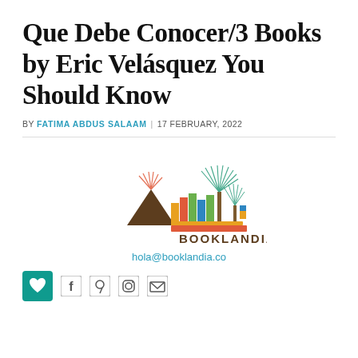Que Debe Conocer/3 Books by Eric Velásquez You Should Know
BY FATIMA ABDUS SALAAM | 17 FEBRUARY, 2022
[Figure (logo): Booklandia logo: colorful stylized books and trees with the word BOOKLANDIA in brown bold letters below]
hola@booklandia.co
[Figure (infographic): Social sharing bar with heart (teal square), Facebook, Pinterest, Instagram, and email icons]